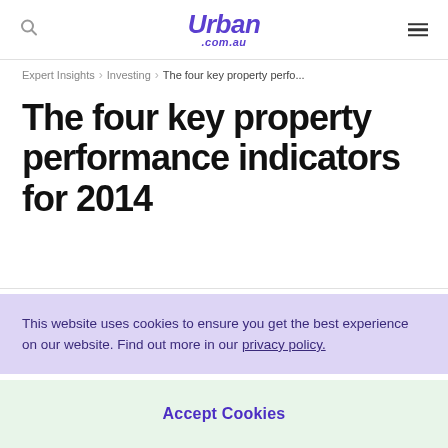Urban .com.au
Expert Insights > Investing > The four key property perfo...
The four key property performance indicators for 2014
This website uses cookies to ensure you get the best experience on our website. Find out more in our privacy policy.
Accept Cookies